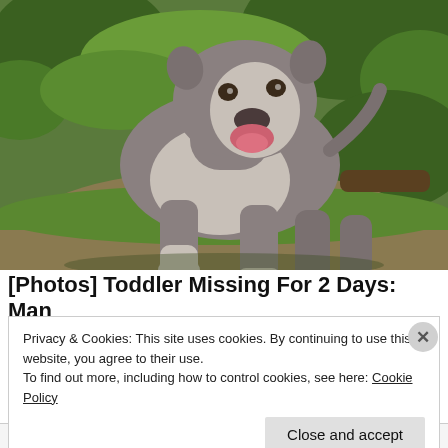[Figure (photo): A large gray and white pit bull type dog standing on grass and dirt in an outdoor setting, facing the camera with mouth open and tongue visible.]
[Photos] Toddler Missing For 2 Days: Man
Privacy & Cookies: This site uses cookies. By continuing to use this website, you agree to their use.
To find out more, including how to control cookies, see here: Cookie Policy
Close and accept